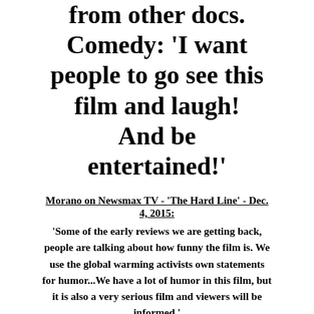from other docs. Comedy: 'I want people to go see this film and laugh! And be entertained!'
Morano on Newsmax TV - 'The Hard Line' - Dec. 4, 2015: 'Some of the early reviews we are getting back, people are talking about how funny the film is. We use the global warming activists own statements for humor...We have a lot of humor in this film, but it is also a very serious film and viewers will be informed.'
By: Marc Morano - Climate Depot    December 5, 2015 6:21 PM
with 3 comments
[Figure (screenshot): Newsmax TV video thumbnail showing 'The Hard Line | Marc Morano on his group's' with Newsmax logo]